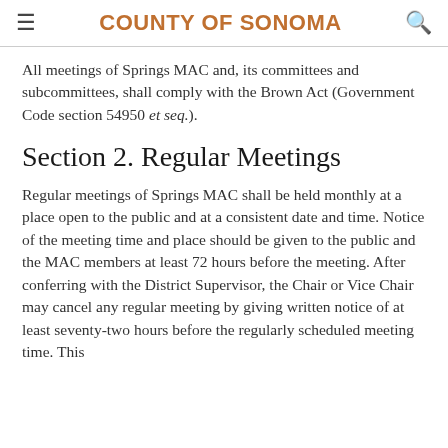COUNTY OF SONOMA
All meetings of Springs MAC and, its committees and subcommittees, shall comply with the Brown Act (Government Code section 54950 et seq.).
Section 2. Regular Meetings
Regular meetings of Springs MAC shall be held monthly at a place open to the public and at a consistent date and time. Notice of the meeting time and place should be given to the public and the MAC members at least 72 hours before the meeting. After conferring with the District Supervisor, the Chair or Vice Chair may cancel any regular meeting by giving written notice of at least seventy-two hours before the regularly scheduled meeting time. This